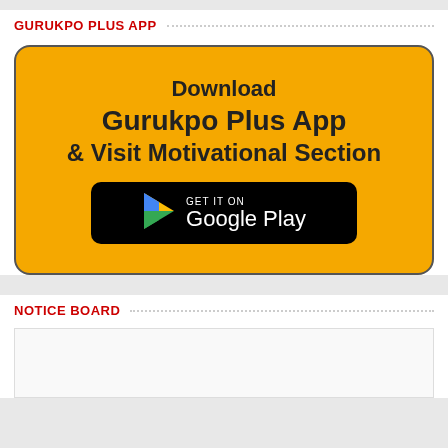GURUKPO PLUS APP
[Figure (infographic): Yellow rounded rectangle banner with text 'Download Gurukpo Plus App & Visit Motivational Section' and a Google Play Store download button]
NOTICE BOARD